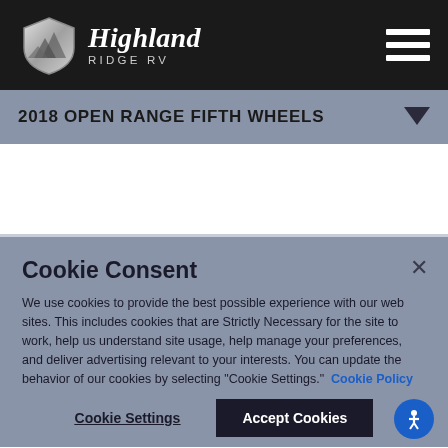Highland Ridge RV
2018 OPEN RANGE FIFTH WHEELS
Cookie Consent
We use cookies to provide the best possible experience with our web sites. This includes cookies that are Strictly Necessary for the site to work, help us understand site usage, help manage your preferences, and deliver advertising relevant to your interests. You can update the behavior of our cookies by selecting "Cookie Settings." Cookie Policy
Cookie Settings
Accept Cookies